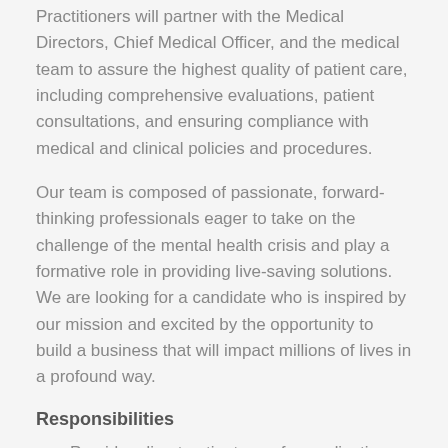Practitioners will partner with the Medical Directors, Chief Medical Officer, and the medical team to assure the highest quality of patient care, including comprehensive evaluations, patient consultations, and ensuring compliance with medical and clinical policies and procedures.
Our team is composed of passionate, forward-thinking professionals eager to take on the challenge of the mental health crisis and play a formative role in providing live-saving solutions. We are looking for a candidate who is inspired by our mission and excited by the opportunity to build a business that will impact millions of lives in a profound way.
Responsibilities
Provides direct patient care for medication management, diagnostic evaluations and medical assessments
Provides patient education regarding medications, risks, benefits and reasonable outcome expectations